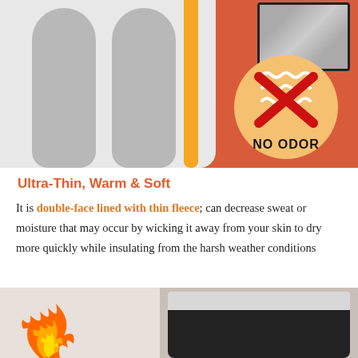[Figure (photo): Product image showing gray thermal leggings on an orange/light background with a fabric close-up inset and a 'NO ODOR' badge circle on the right side]
Ultra-Thin, Warm & Soft
It is double-face lined with thin fleece; can decrease sweat or moisture that may occur by wicking it away from your skin to dry more quickly while insulating from the harsh weather conditions
[Figure (photo): Bottom product image showing thermal underwear with a flame icon on the left and a model wearing black thermal pants with white waistband on the right, orange/red background]